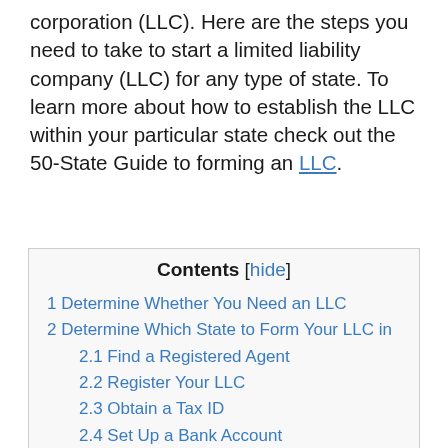corporation (LLC). Here are the steps you need to take to start a limited liability company (LLC) for any type of state. To learn more about how to establish the LLC within your particular state check out the 50-State Guide to forming an LLC.
Contents [hide]
1 Determine Whether You Need an LLC
2 Determine Which State to Form Your LLC in
2.1 Find a Registered Agent
2.2 Register Your LLC
2.3 Obtain a Tax ID
2.4 Set Up a Bank Account
2.5 Open a Business Checking Account